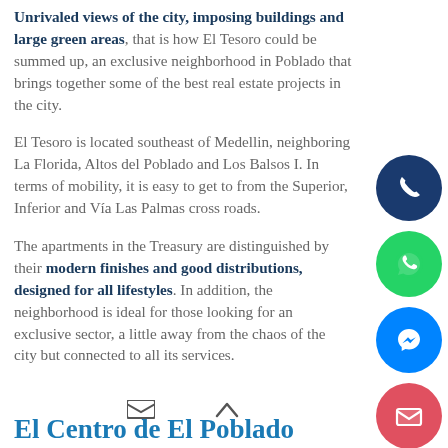Unrivaled views of the city, imposing buildings and large green areas, that is how El Tesoro could be summed up, an exclusive neighborhood in Poblado that brings together some of the best real estate projects in the city.
El Tesoro is located southeast of Medellin, neighboring La Florida, Altos del Poblado and Los Balsos I. In terms of mobility, it is easy to get to from the Superior, Inferior and Vía Las Palmas cross roads.
The apartments in the Treasury are distinguished by their modern finishes and good distributions, designed for all lifestyles. In addition, the neighborhood is ideal for those looking for an exclusive sector, a little away from the chaos of the city but connected to all its services.
[Figure (other): Social media contact buttons on right side: phone (dark blue), WhatsApp (green), Messenger (blue), email (red/pink), close (dark blue)]
[Figure (other): Bottom navigation bar with email icon and up-arrow icon]
El Centro de El Poblado